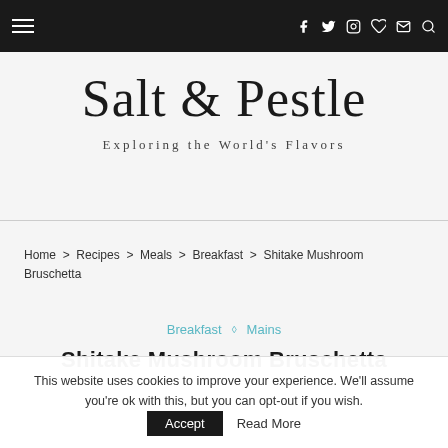≡  f  twitter  instagram  pinterest  mail  search
Salt & Pestle
Exploring the World's Flavors
Home > Recipes > Meals > Breakfast > Shitake Mushroom Bruschetta
Breakfast ◇ Mains
Shitake Mushroom Bruschetta
This website uses cookies to improve your experience. We'll assume you're ok with this, but you can opt-out if you wish.  Accept  Read More